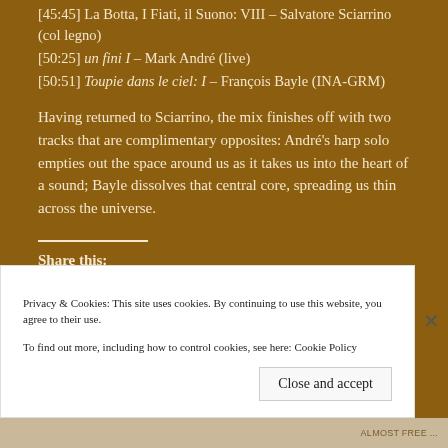[45:45] La Botta, I Fiati, il Suono: VIII – Salvatore Sciarrino (col legno)
[50:25] un fini I – Mark André (live)
[50:51] Toupie dans le ciel: I – François Bayle (INA-GRM)
Having returned to Sciarrino, the mix finishes off with two tracks that are complimentary opposites: André's harp solo empties out the space around us as it takes us into the heart of a sound; Bayle dissolves that central core, spreading us thin across the universe.
Share this:
Privacy & Cookies: This site uses cookies. By continuing to use this website, you agree to their use.
To find out more, including how to control cookies, see here: Cookie Policy